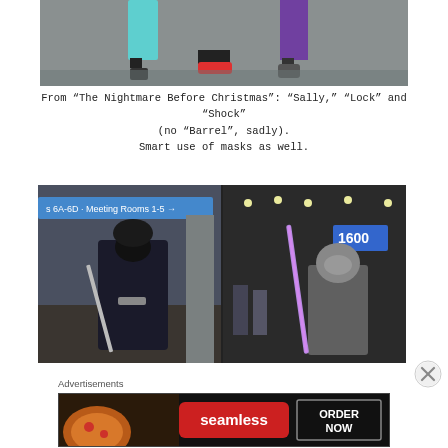[Figure (photo): Partial view of costumed figures' legs and feet on a convention floor]
From “The Nightmare Before Christmas”: “Sally,” “Lock” and “Shock” (no “Barrel”, sadly).
Smart use of masks as well.
[Figure (photo): Two cosplay photos side by side at a convention: left shows a cosplayer in dark armored costume with black mask and sword; right shows a Star Wars Mandalorian cosplayer with lightsaber on convention floor]
Advertisements
[Figure (photo): Seamless food delivery advertisement banner showing pizza on the left, seamless logo in center, and ORDER NOW button on the right]